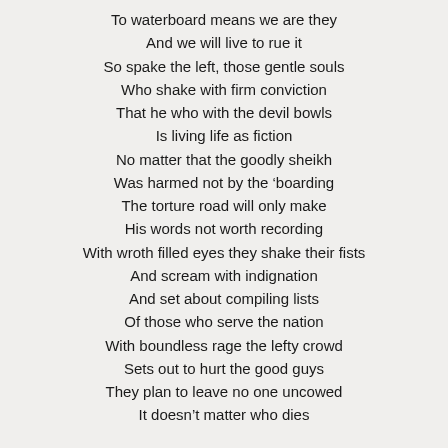To waterboard means we are they
And we will live to rue it
So spake the left, those gentle souls
Who shake with firm conviction
That he who with the devil bowls
Is living life as fiction
No matter that the goodly sheikh
Was harmed not by the ‘boarding
The torture road will only make
His words not worth recording
With wroth filled eyes they shake their fists
And scream with indignation
And set about compiling lists
Of those who serve the nation
With boundless rage the lefty crowd
Sets out to hurt the good guys
They plan to leave no one uncowed
It doesn’t matter who dies